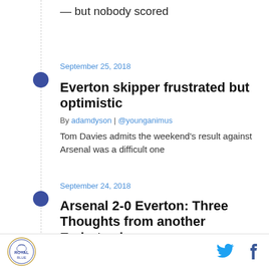— but nobody scored
September 25, 2018
Everton skipper frustrated but optimistic
By adamdyson | @younganimus
Tom Davies admits the weekend's result against Arsenal was a difficult one
September 24, 2018
Arsenal 2-0 Everton: Three Thoughts from another Emirates loss
By mralbaugh | @MattAlbaugh
Three thoughts from Everton's missed opportunity to finally win away at Arsenal